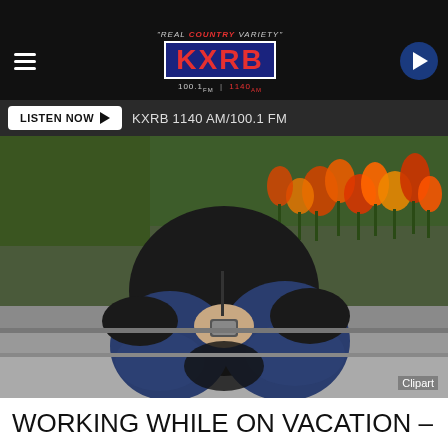KXRB "REAL COUNTRY VARIETY" 100.1 FM | 1140 AM
LISTEN NOW ▶  KXRB 1140 AM/100.1 FM
[Figure (photo): Person sitting on steps outside looking at their phone, wearing black hoodie and jeans, with orange and yellow tulips in the background. Clipart label in bottom right.]
WORKING WHILE ON VACATION –